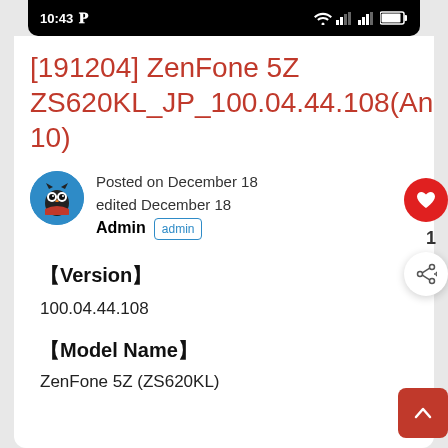10:43 P
[191204] ZenFone 5Z ZS620KL_JP_100.04.44.108(Android 10)
Posted on December 18 edited December 18 Admin admin
【Version】
100.04.44.108
【Model Name】
ZenFone 5Z (ZS620KL)